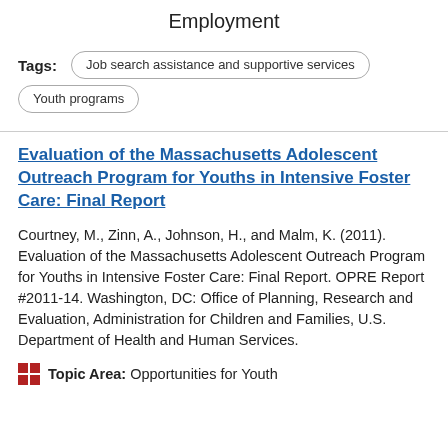Employment
Tags: Job search assistance and supportive services  Youth programs
Evaluation of the Massachusetts Adolescent Outreach Program for Youths in Intensive Foster Care: Final Report
Courtney, M., Zinn, A., Johnson, H., and Malm, K. (2011). Evaluation of the Massachusetts Adolescent Outreach Program for Youths in Intensive Foster Care: Final Report. OPRE Report #2011-14. Washington, DC: Office of Planning, Research and Evaluation, Administration for Children and Families, U.S. Department of Health and Human Services.
Topic Area: Opportunities for Youth